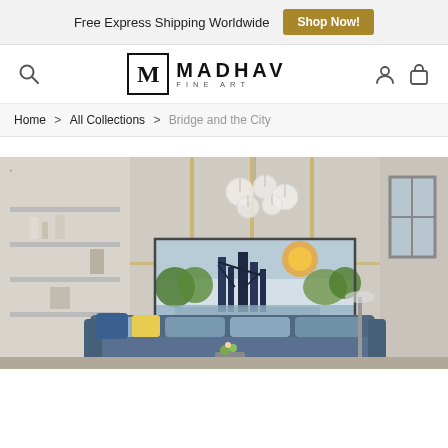Free Express Shipping Worldwide  Shop Now!
[Figure (logo): Madhav Fine Art logo with M in a box and text MADHAV FINE ART]
Home > All Collections > Bridge and the City
[Figure (photo): Interior room scene with abstract cityscape painting on wall above a blue sofa, with modern chandelier and shelving unit]